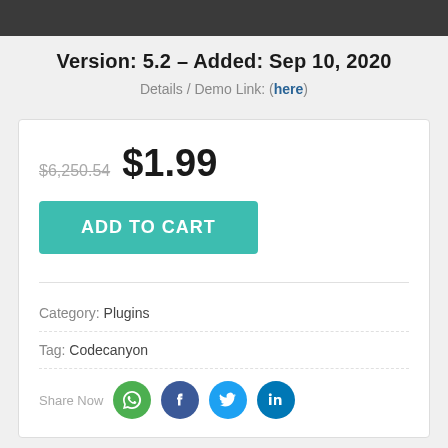Version: 5.2 – Added: Sep 10, 2020
Details / Demo Link: (here)
$6,250.54  $1.99
ADD TO CART
Category: Plugins
Tag: Codecanyon
Share Now